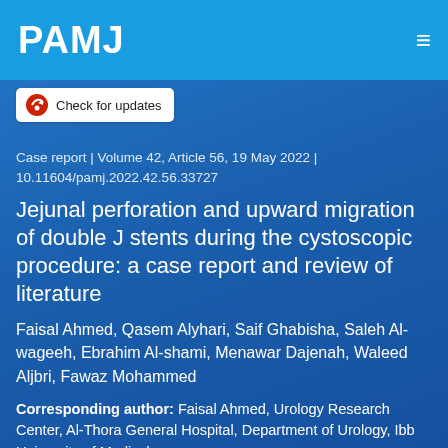PAMJ
[Figure (other): Check for updates badge with circular icon]
Case report | Volume 42, Article 56, 19 May 2022 | 10.11604/pamj.2022.42.56.33727
Jejunal perforation and upward migration of double J stents during the cystoscopic procedure: a case report and review of literature
Faisal Ahmed, Qasem Alyhari, Saif Ghabisha, Saleh Al-wageeh, Ebrahim Al-shami, Menawar Dajenah, Waleed Aljbri, Fawaz Mohammed
Corresponding author: Faisal Ahmed, Urology Research Center, Al-Thora General Hospital, Department of Urology, Ibb University of Medical